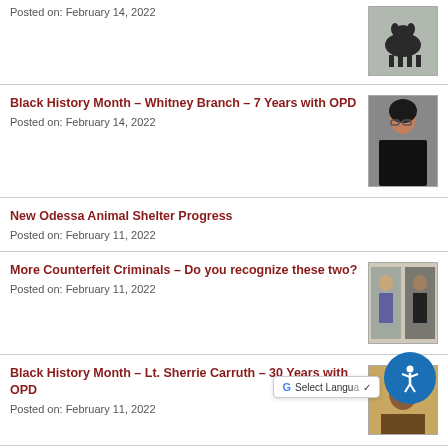Posted on: February 14, 2022
[Figure (photo): Black dog standing]
Black History Month – Whitney Branch – 7 Years with OPD
Posted on: February 14, 2022
[Figure (photo): Female police officer smiling]
New Odessa Animal Shelter Progress
Posted on: February 11, 2022
More Counterfeit Criminals – Do you recognize these two?
Posted on: February 11, 2022
[Figure (photo): Two surveillance photos of suspects]
Black History Month – Lt. Sherrie Carruth – 30 Years with OPD
Posted on: February 11, 2022
[Figure (photo): Portrait photo of Lt. Sherrie Carruth]
New Officer Joel Contreras Jr.
[Figure (photo): Photo of new officer]